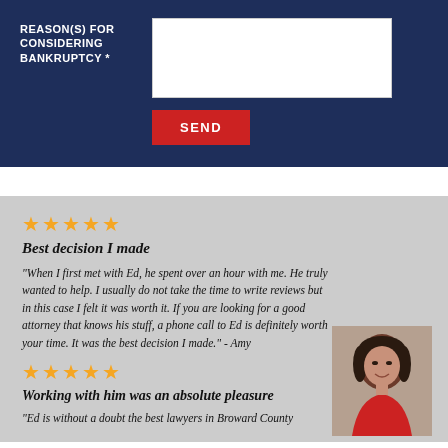REASON(S) FOR CONSIDERING BANKRUPTCY *
SEND
Best decision I made
"When I first met with Ed, he spent over an hour with me. He truly wanted to help. I usually do not take the time to write reviews but in this case I felt it was worth it. If you are looking for a good attorney that knows his stuff, a phone call to Ed is definitely worth your time. It was the best decision I made." - Amy
[Figure (photo): Photo of a woman with dark hair wearing a red top, smiling.]
Working with him was an absolute pleasure
"Ed is without a doubt the best lawyers in Broward County